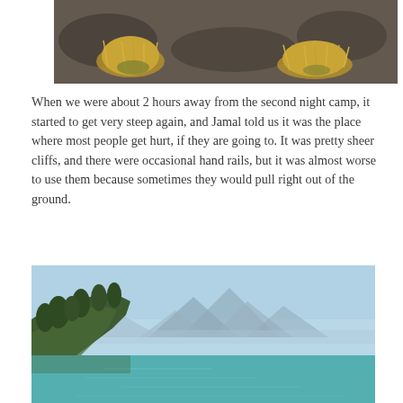[Figure (photo): Close-up photo of dry grass tufts on dark volcanic/sandy ground]
When we were about 2 hours away from the second night camp, it started to get very steep again, and Jamal told us it was the place where most people get hurt, if they are going to. It was pretty sheer cliffs, and there were occasional hand rails, but it was almost worse to use them because sometimes they would pull right out of the ground.
[Figure (photo): Landscape photo showing a mountain lake with turquoise water, forested hillside on the left, and mountain peaks in the background under a clear blue sky]